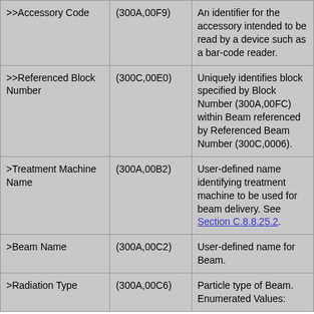| >>Accessory Code | (300A,00F9) | An identifier for the accessory intended to be read by a device such as a bar-code reader. |
| >>Referenced Block Number | (300C,00E0) | Uniquely identifies block specified by Block Number (300A,00FC) within Beam referenced by Referenced Beam Number (300C,0006). |
| >Treatment Machine Name | (300A,00B2) | User-defined name identifying treatment machine to be used for beam delivery. See Section C.8.8.25.2. |
| >Beam Name | (300A,00C2) | User-defined name for Beam. |
| >Radiation Type | (300A,00C6) | Particle type of Beam. Enumerated Values: |